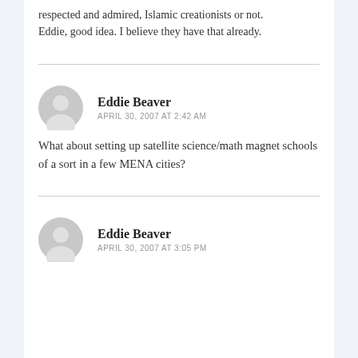respected and admired, Islamic creationists or not.
Eddie, good idea. I believe they have that already.
Eddie Beaver
APRIL 30, 2007 AT 2:42 AM
What about setting up satellite science/math magnet schools of a sort in a few MENA cities?
Eddie Beaver
APRIL 30, 2007 AT 3:05 PM